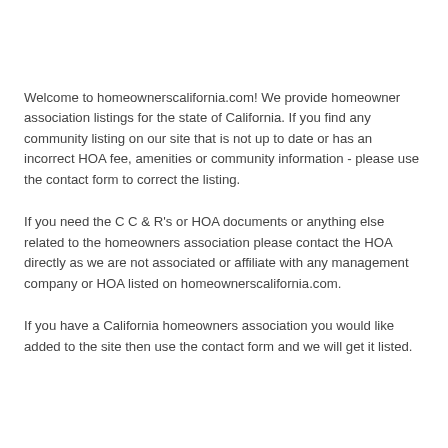Welcome to homeownerscalifornia.com! We provide homeowner association listings for the state of California. If you find any community listing on our site that is not up to date or has an incorrect HOA fee, amenities or community information - please use the contact form to correct the listing.
If you need the C C & R's or HOA documents or anything else related to the homeowners association please contact the HOA directly as we are not associated or affiliate with any management company or HOA listed on homeownerscalifornia.com.
If you have a California homeowners association you would like added to the site then use the contact form and we will get it listed.